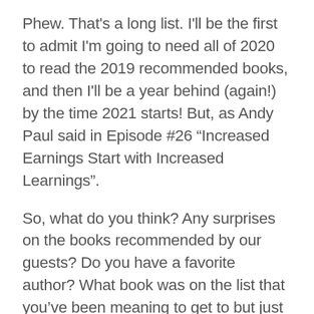Phew. That's a long list. I'll be the first to admit I'm going to need all of 2020 to read the 2019 recommended books, and then I'll be a year behind (again!) by the time 2021 starts! But, as Andy Paul said in Episode #26 “Increased Earnings Start with Increased Learnings”.
So, what do you think? Any surprises on the books recommended by our guests? Do you have a favorite author? What book was on the list that you’ve been meaning to get to but just haven’t? If you could pick just one book from that list, which one would it be? More importantly, what book did they miss? Let’s continue the discussion in the